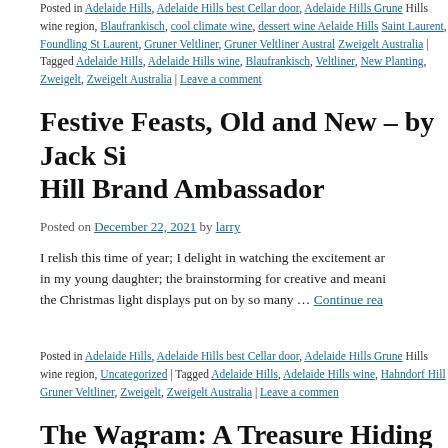Posted in Adelaide Hills, Adelaide Hills best Cellar door, Adelaide Hills Grune Hills wine region, Blaufrankisch, cool climate wine, dessert wine Aelaide Hills Saint Laurent, Foundling St Laurent, Gruner Veltliner, Gruner Veltliner Austral Zweigelt Australia | Tagged Adelaide Hills, Adelaide Hills wine, Blaufrankisch, Veltliner, New Planting, Zweigelt, Zweigelt Australia | Leave a comment
Festive Feasts, Old and New – by Jack Si Hill Brand Ambassador
Posted on December 22, 2021 by larry
I relish this time of year; I delight in watching the excitement ar in my young daughter; the brainstorming for creative and meani the Christmas light displays put on by so many … Continue rea
Posted in Adelaide Hills, Adelaide Hills best Cellar door, Adelaide Hills Grune Hills wine region, Uncategorized | Tagged Adelaide Hills, Adelaide Hills wine, Hahndorf Hill Gruner Veltliner, Zweigelt, Zweigelt Australia | Leave a commen
The Wagram: A Treasure Hiding in Plain S